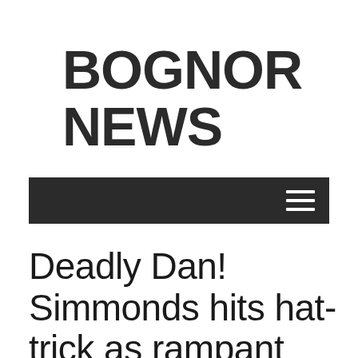BOGNOR NEWS
[Figure (other): Dark navigation bar with hamburger menu icon (three horizontal lines) on the right side]
Deadly Dan! Simmonds hits hat-trick as rampant Pagham fire five to